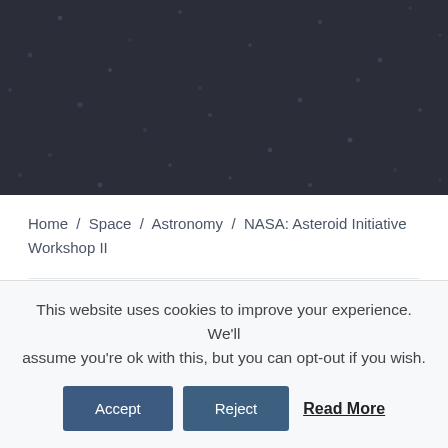[Figure (photo): Dark space background image with scattered star/dot patterns on a dark gray-navy background, used as a hero image banner.]
Home / Space / Astronomy / NASA: Asteroid Initiative Workshop II
This website uses cookies to improve your experience. We'll assume you're ok with this, but you can opt-out if you wish. Accept Reject Read More